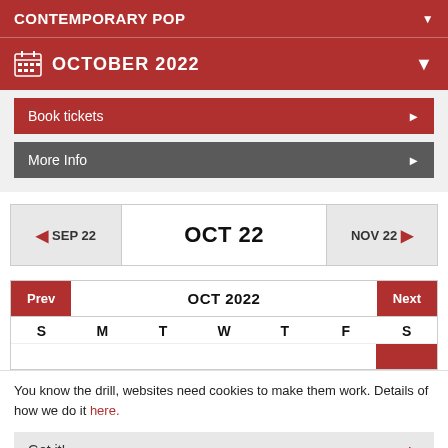CONTEMPORARY POP
OCTOBER 2022
Book tickets
More Info
◄ SEP 22   OCT 22   NOV 22 ►
Prev   OCT 2022   Next
| S | M | T | W | T | F | S |
| --- | --- | --- | --- | --- | --- | --- |
|  |
You know the drill, websites need cookies to make them work. Details of how we do it here.
Got it!